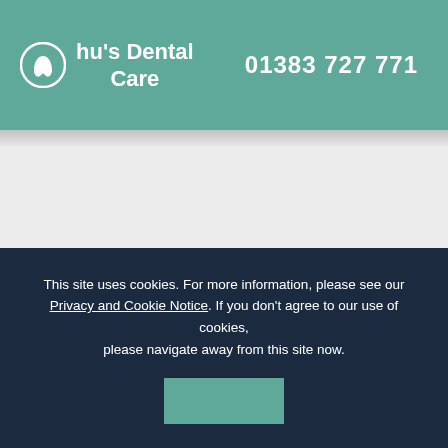Ohu's Dental Care  01383 727 771
This site uses cookies. For more information, please see our Privacy and Cookie Notice. If you don't agree to our use of cookies, please navigate away from this site now.